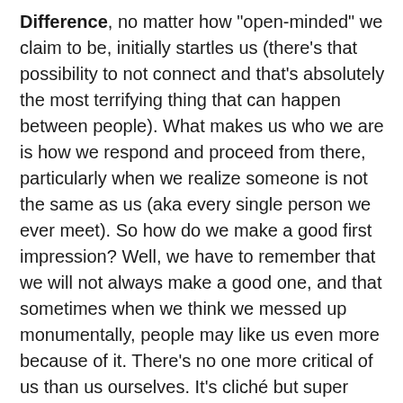Difference, no matter how "open-minded" we claim to be, initially startles us (there's that possibility to not connect and that's absolutely the most terrifying thing that can happen between people). What makes us who we are is how we respond and proceed from there, particularly when we realize someone is not the same as us (aka every single person we ever meet). So how do we make a good first impression? Well, we have to remember that we will not always make a good one, and that sometimes when we think we messed up monumentally, people may like us even more because of it. There's no one more critical of us than us ourselves. It's cliché but super simple, be yourself. Whoever that is, and own it. If it's energetic, bubbly and extroverted, great work with it. If it's more relaxed, slightly reserved, and somewhat more pensive, then make moves with that too. However your carry yourself and your personality make sure you're engaging. Conversations require two people. To the long-winded ranters, give room for responses, and to those who listen more than they talk, say something and keep up. I imagine people are